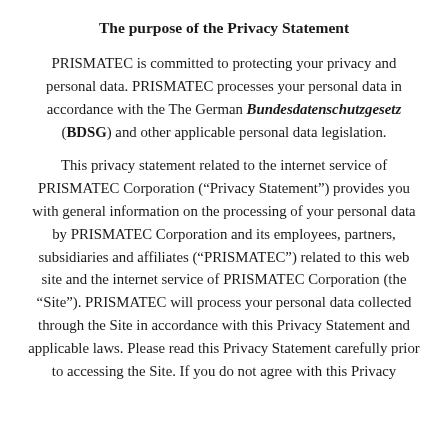The purpose of the Privacy Statement
PRISMATEC is committed to protecting your privacy and personal data. PRISMATEC processes your personal data in accordance with the The German Bundesdatenschutzgesetz (BDSG) and other applicable personal data legislation.
This privacy statement related to the internet service of PRISMATEC Corporation (“Privacy Statement”) provides you with general information on the processing of your personal data by PRISMATEC Corporation and its employees, partners, subsidiaries and affiliates (“PRISMATEC”) related to this web site and the internet service of PRISMATEC Corporation (the “Site”). PRISMATEC will process your personal data collected through the Site in accordance with this Privacy Statement and applicable laws. Please read this Privacy Statement carefully prior to accessing the Site. If you do not agree with this Privacy